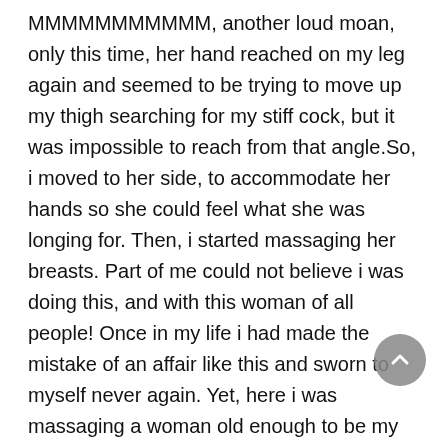MMMMMMMMMMM, another loud moan, only this time, her hand reached on my leg again and seemed to be trying to move up my thigh searching for my stiff cock, but it was impossible to reach from that angle.So, i moved to her side, to accommodate her hands so she could feel what she was longing for. Then, i started massaging her breasts. Part of me could not believe i was doing this, and with this woman of all people! Once in my life i had made the mistake of an affair like this and sworn to myself never again. Yet, here i was massaging a woman old enough to be my mom. Then, she reached up and started to kiss me, and it was not long before she had unzipped my pants, yanked out my cock, and was deep throating me as far as she could go. For a woman who hadnt had sex in 5 years, i was utterly amazed at her age and how fantastic her oral skills were. I wanted to fuck her, so i had to stop her so i did not come in her mouth.We both